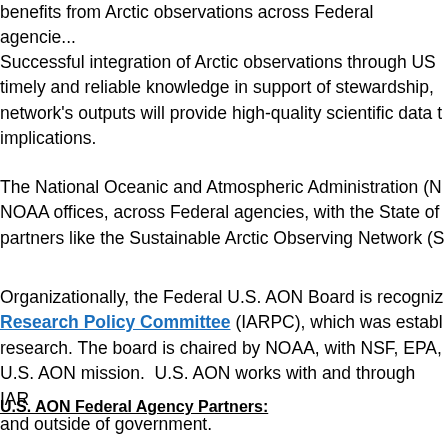benefits from Arctic observations across Federal agencie...
Successful integration of Arctic observations through US... timely and reliable knowledge in support of stewardship,... network's outputs will provide high-quality scientific data t... implications.
The National Oceanic and Atmospheric Administration (N... NOAA offices, across Federal agencies, with the State of... partners like the Sustainable Arctic Observing Network (S...
Organizationally, the Federal U.S. AON Board is recogniz... Research Policy Committee (IARPC), which was establ... research. The board is chaired by NOAA, with NSF, EPA,... U.S. AON mission. U.S. AON works with and through IAR... and outside of government.
U.S. AON Federal Agency Partners: